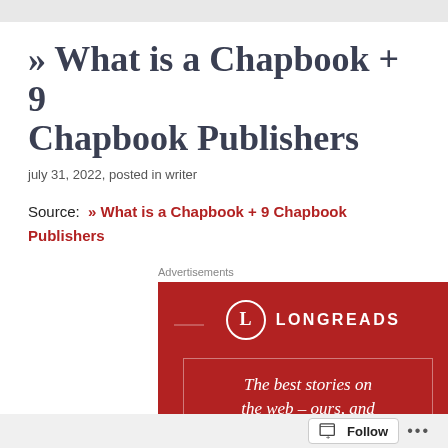» What is a Chapbook + 9 Chapbook Publishers
july 31, 2022, posted in writer
Source:  » What is a Chapbook + 9 Chapbook Publishers
Advertisements
[Figure (screenshot): Longreads advertisement on red background with white circle logo containing 'L', bold text 'LONGREADS', and italic text 'The best stories on the web – ours, and everyone else's.' inside a thin white border box.]
Follow